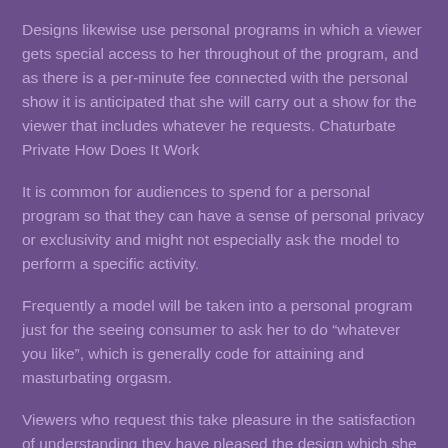Designs likewise use personal programs in which a viewer gets special access to her throughout of the program, and as there is a per-minute fee connected with the personal show it is anticipated that she will carry out a show for the viewer that includes whatever he requests. Chaturbate Private How Does It Work
It is common for audiences to spend for a personal program so that they can have a sense of personal privacy or exclusivity and might not especially ask the model to perform a specific activity.
Frequently a model will be taken into a personal program just for the seeing consumer to ask her to do "whatever you like", which is generally code for attaining and masturbating orgasm.
Viewers who request this take pleasure in the satisfaction of understanding they have pleased the design which she has orgasm due to the fact that of what they have actually done, in this case paid for a private show.